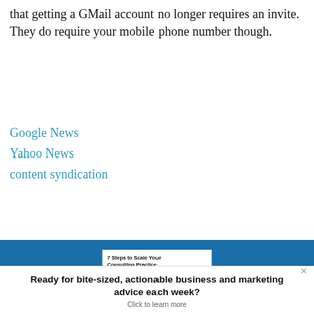that getting a GMail account no longer requires an invite. They do require your mobile phone number though.
Google News
Yahoo News
content syndication
[Figure (illustration): Blue banner background with a white book cover showing '7 Steps to Scale Your Consulting Practice Without Adding Overhead' with a teal/blue illustrated city/building graphic on the cover.]
Ready for bite-sized, actionable business and marketing advice each week? Click to learn more